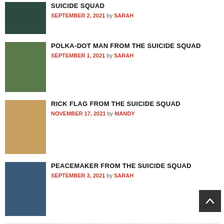SUICIDE SQUAD — SEPTEMBER 2, 2021 by SARAH
POLKA-DOT MAN FROM THE SUICIDE SQUAD — SEPTEMBER 1, 2021 by SARAH
RICK FLAG FROM THE SUICIDE SQUAD — NOVEMBER 17, 2021 by MANDY
PEACEMAKER FROM THE SUICIDE SQUAD — SEPTEMBER 3, 2021 by SARAH
ENCANTO
LUISA MADRIGAL FROM ENCANTO — JANUARY 2, 2022 by SARAH